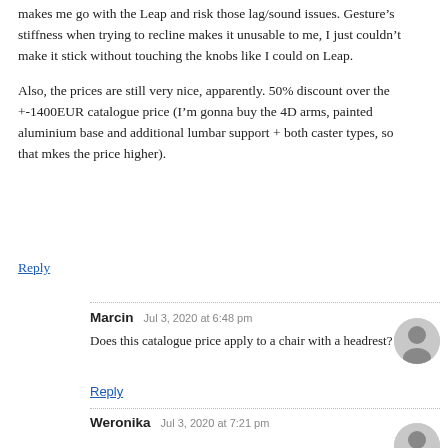makes me go with the Leap and risk those lag/sound issues. Gesture’s stiffness when trying to recline makes it unusable to me, I just couldn’t make it stick without touching the knobs like I could on Leap.
Also, the prices are still very nice, apparently. 50% discount over the +-1400EUR catalogue price (I’m gonna buy the 4D arms, painted aluminium base and additional lumbar support + both caster types, so that mkes the price higher).
Reply
Marcin  Jul 3, 2020 at 6:48 pm
Does this catalogue price apply to a chair with a headrest?
Reply
Weronika  Jul 3, 2020 at 7:21 pm